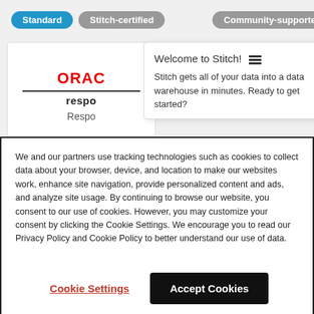[Figure (screenshot): Website UI showing filter tag buttons: 'Standard' (blue), 'Stitch-certified' (gray), 'Community-supported' (gray), and a blue X close button]
[Figure (screenshot): Oracle Responsys connector card partially visible on the left, and a 'Welcome to Stitch!' tooltip popup on the right with text: 'Stitch gets all of your data into a data warehouse in minutes. Ready to get started?']
We and our partners use tracking technologies such as cookies to collect data about your browser, device, and location to make our websites work, enhance site navigation, provide personalized content and ads, and analyze site usage. By continuing to browse our website, you consent to our use of cookies. However, you may customize your consent by clicking the Cookie Settings. We encourage you to read our Privacy Policy and Cookie Policy to better understand our use of data.
Cookie Settings
Accept Cookies